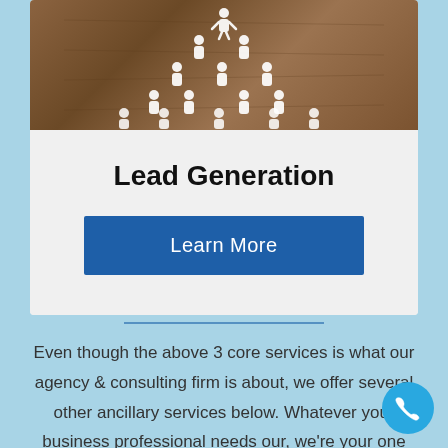[Figure (photo): Photo of paper cutout human figures arranged in a tree/pyramid shape on a wooden background]
Lead Generation
Learn More
Even though the above 3 core services is what our agency & consulting firm is about, we offer several other ancillary services below. Whatever your business professional needs our, we're your one stop shop